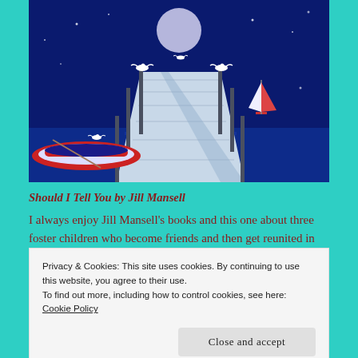[Figure (illustration): Book cover illustration showing a nighttime dock/pier scene with a red sailboat on the water under a full moon, seagulls perched on posts, a small rowboat tied to the dock, all rendered in deep blue tones with a white boardwalk receding into the distance.]
Should I Tell You by Jill Mansell
I always enjoy Jill Mansell's books and this one about three foster children who become friends and then get reunited in their Cornish home town sounds lovely.
Privacy & Cookies: This site uses cookies. By continuing to use this website, you agree to their use.
To find out more, including how to control cookies, see here: Cookie Policy
Close and accept